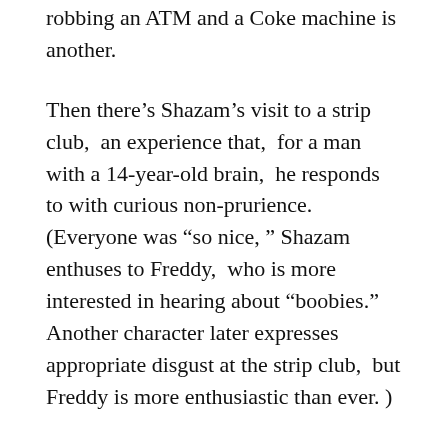robbing an ATM and a Coke machine is another.
Then there’s Shazam’s visit to a strip club,  an experience that,  for a man with a 14-year-old brain,  he responds to with curious non-prurience.  (Everyone was “so nice, ” Shazam enthuses to Freddy,  who is more interested in hearing about “boobies.” Another character later expresses appropriate disgust at the strip club,  but Freddy is more enthusiastic than ever. )
At any rate,  it’s all fun and games until a scary supervillain shows up who seems to know all about you and the powers you’re still figuring out,  and who has a crew of scary demons at his beck and call to boot.  Like Violet and Dash in The Incredibles,  Billy must grow up in a hurry not only to survive a threat he’s not prepared to deal with,  but also to protect those he loves.